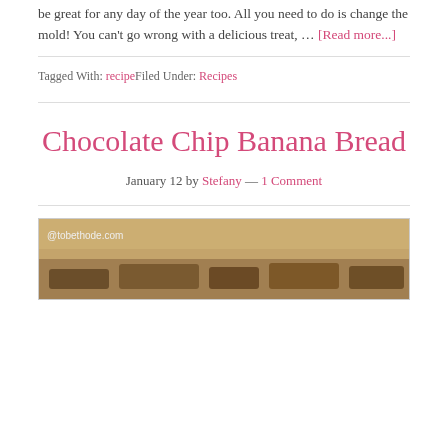be great for any day of the year too. All you need to do is change the mold! You can't go wrong with a delicious treat, … [Read more...]
Tagged With: recipeFiled Under: Recipes
Chocolate Chip Banana Bread
January 12 by Stefany — 1 Comment
[Figure (photo): Photo of chocolate chip banana bread on a marble/granite surface, with watermark @tobethode.com]